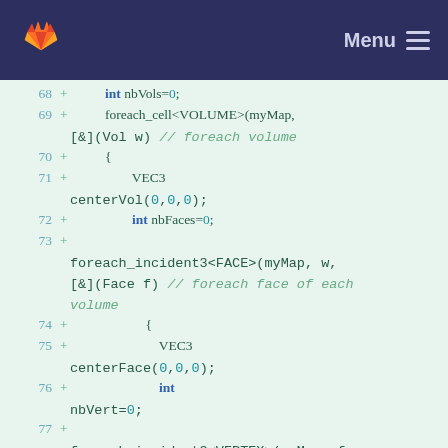Menu
[Figure (screenshot): Code diff view showing C++ code lines 68-77 with line numbers, plus signs indicating additions, and syntax-highlighted code including foreach_cell, foreach_incident3 loops with VEC3 and int variable declarations, and italic comments.]